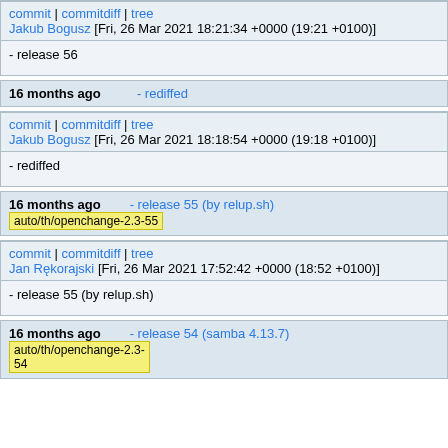commit | commitdiff | tree
Jakub Bogusz [Fri, 26 Mar 2021 18:21:34 +0000 (19:21 +0100)]
- release 56
16 months ago    - rediffed
commit | commitdiff | tree
Jakub Bogusz [Fri, 26 Mar 2021 18:18:54 +0000 (19:18 +0100)]
- rediffed
16 months ago    - release 55 (by relup.sh)    auto/th/openchange-2.3-55
commit | commitdiff | tree
Jan Rękorajski [Fri, 26 Mar 2021 17:52:42 +0000 (18:52 +0100)]
- release 55 (by relup.sh)
16 months ago    - release 54 (samba 4.13.7)    auto/th/openchange-2.3-54